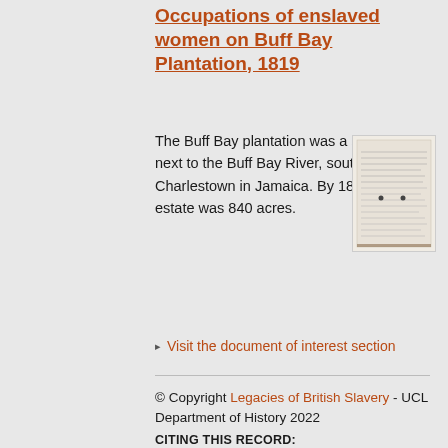Occupations of enslaved women on Buff Bay Plantation, 1819
The Buff Bay plantation was a sugar estate next to the Buff Bay River, south of Charlestown in Jamaica. By 1839, the estate was 840 acres.
[Figure (photo): A historical document image showing a handwritten ledger or list, appearing to be an old plantation record, rendered in grayscale.]
▸ Visit the document of interest section
© Copyright Legacies of British Slavery - UCL Department of History 2022
CITING THIS RECORD:
'John Brandford Lane [or Layne]', Legacies of British Slavery database, http://wwwdepts-live.ucl.ac.uk/lbs/person/view/2146639332